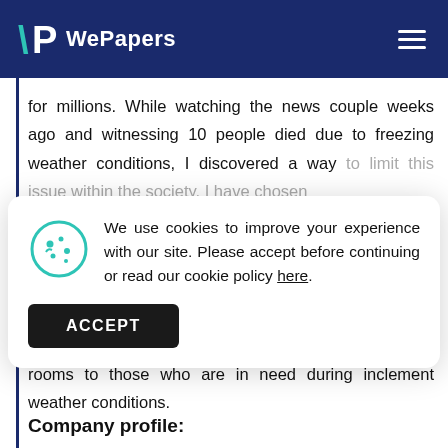WePapers
for millions. While watching the news couple weeks ago and witnessing 10 people died due to freezing weather conditions, I discovered a way to limit this issue within the society. I have chosen rooms to those who are in need during inclement weather conditions.
We use cookies to improve your experience with our site. Please accept before continuing or read our cookie policy here.
Company profile: